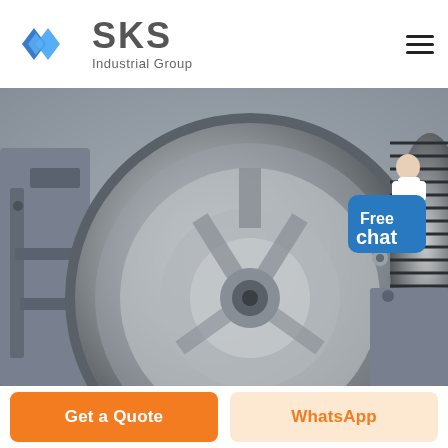[Figure (logo): SKS Industrial Group logo with blue diamond/arrow icon and company name]
[Figure (photo): Close-up industrial photo of large rotating machinery — a jaw crusher or similar heavy equipment with a large grey flywheel and multi-groove pulley belt system]
[Figure (illustration): Free chat bubble button with a customer service representative figure, blue background]
Get a Quote
WhatsApp